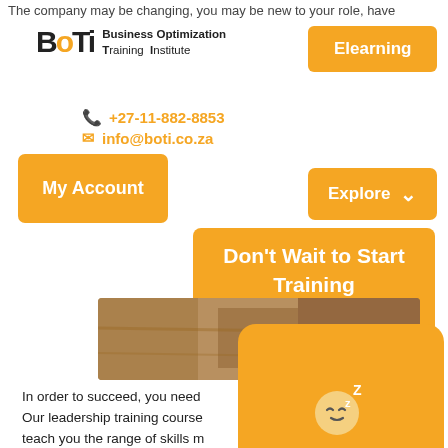The company may be changing, you may be new to your role, have
[Figure (logo): Business Optimization Training Institute (BOTI) logo with stylized text]
Elearning
+27-11-882-8853
info@boti.co.za
My Account
Explore
Don't Wait to Start Training Click to Contact us Today
[Figure (photo): Stone/rock wall texture background photo]
In order to succeed, you need
Our leadership training course teach you the range of skills m motivate your teams to succes Africa's Top Leadership Cour
[Figure (illustration): Chat widget showing sleeping/offline icon with Zz letters. Text: We're offline, Leave a message]